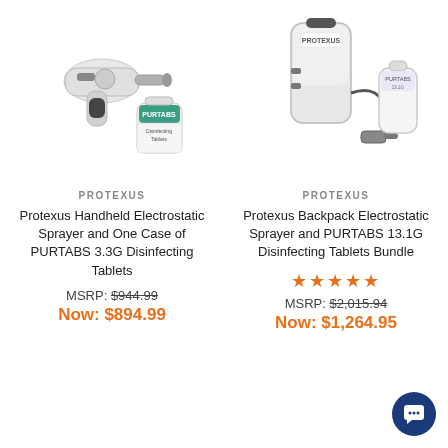[Figure (photo): Protexus handheld electrostatic sprayer with a container of PURTABS 3.3G disinfecting tablets]
[Figure (photo): Protexus backpack electrostatic sprayer with a bottle of PURTABS 13.1G disinfecting tablets]
PROTEXUS
Protexus Handheld Electrostatic Sprayer and One Case of PURTABS 3.3G Disinfecting Tablets
MSRP: $944.99
Now: $894.99
PROTEXUS
Protexus Backpack Electrostatic Sprayer and PURTABS 13.1G Disinfecting Tablets Bundle
★★★★★
MSRP: $2,015.94
Now: $1,264.95